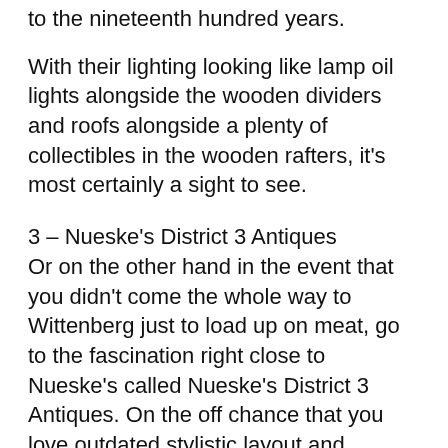to the nineteenth hundred years.
With their lighting looking like lamp oil lights alongside the wooden dividers and roofs alongside a plenty of collectibles in the wooden rafters, it's most certainly a sight to see.
3 – Nueske's District 3 Antiques
Or on the other hand in the event that you didn't come the whole way to Wittenberg just to load up on meat, go to the fascination right close to Nueske's called Nueske's District 3 Antiques. On the off chance that you love outdated stylistic layout and couldn't want anything more than to add to your assortment, it's an extraordinary spot to shop to track down provincially roused things.